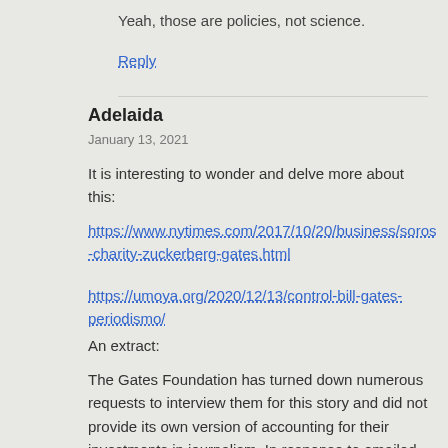Yeah, those are policies, not science.
Reply
Adelaida
January 13, 2021
It is interesting to wonder and delve more about this:
https://www.nytimes.com/2017/10/20/business/soros-charity-zuckerberg-gates.html
https://umoya.org/2020/12/13/control-bill-gates-periodismo/
An extract:
The Gates Foundation has turned down numerous requests to interview them for this story and did not provide its own version of accounting for their investments in journalism. In response to emailed questions, a spokesperson for the Foundation stated that “a guiding principle” for its funding of